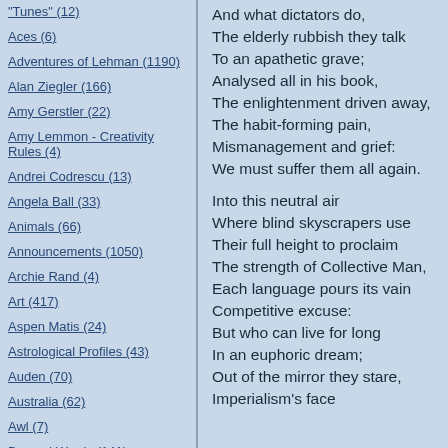"Tunes" (12)
Aces (6)
Adventures of Lehman (1190)
Alan Ziegler (166)
Amy Gerstler (22)
Amy Lemmon - Creativity Rules (4)
Andrei Codrescu (13)
Angela Ball (33)
Animals (66)
Announcements (1050)
Archie Rand (4)
Art (417)
Aspen Matis (24)
Astrological Profiles (43)
Auden (70)
Australia (62)
Awl (7)
Beyond Words (141)
And what dictators do,
The elderly rubbish they talk
To an apathetic grave;
Analysed all in his book,
The enlightenment driven away,
The habit-forming pain,
Mismanagement and grief:
We must suffer them all again.

Into this neutral air
Where blind skyscrapers use
Their full height to proclaim
The strength of Collective Man,
Each language pours its vain
Competitive excuse:
But who can live for long
In an euphoric dream;
Out of the mirror they stare,
Imperialism's face